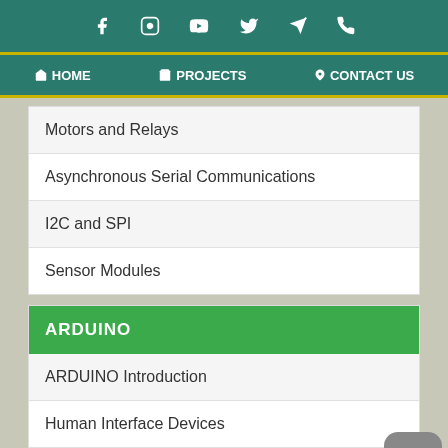Social media icons: Facebook, Instagram, YouTube, Twitter, Telegram, Phone
HOME | PROJECTS | CONTACT US
Motors and Relays
Asynchronous Serial Communications
I2C and SPI
Sensor Modules
ARDUINO
ARDUINO Introduction
Human Interface Devices
Timers and Interrupts
Motors and Relays